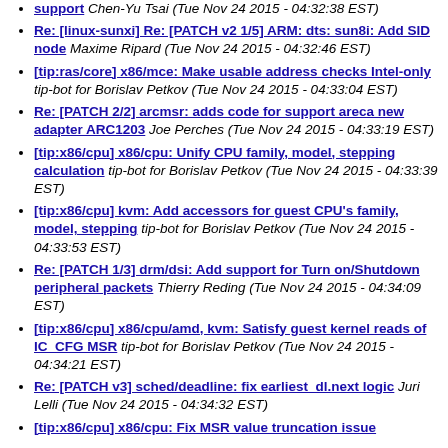support Chen-Yu Tsai (Tue Nov 24 2015 - 04:32:38 EST)
Re: [linux-sunxi] Re: [PATCH v2 1/5] ARM: dts: sun8i: Add SID node Maxime Ripard (Tue Nov 24 2015 - 04:32:46 EST)
[tip:ras/core] x86/mce: Make usable address checks Intel-only tip-bot for Borislav Petkov (Tue Nov 24 2015 - 04:33:04 EST)
Re: [PATCH 2/2] arcmsr: adds code for support areca new adapter ARC1203 Joe Perches (Tue Nov 24 2015 - 04:33:19 EST)
[tip:x86/cpu] x86/cpu: Unify CPU family, model, stepping calculation tip-bot for Borislav Petkov (Tue Nov 24 2015 - 04:33:39 EST)
[tip:x86/cpu] kvm: Add accessors for guest CPU's family, model, stepping tip-bot for Borislav Petkov (Tue Nov 24 2015 - 04:33:53 EST)
Re: [PATCH 1/3] drm/dsi: Add support for Turn on/Shutdown peripheral packets Thierry Reding (Tue Nov 24 2015 - 04:34:09 EST)
[tip:x86/cpu] x86/cpu/amd, kvm: Satisfy guest kernel reads of IC_CFG MSR tip-bot for Borislav Petkov (Tue Nov 24 2015 - 04:34:21 EST)
Re: [PATCH v3] sched/deadline: fix earliest_dl.next logic Juri Lelli (Tue Nov 24 2015 - 04:34:32 EST)
[tip:x86/cpu] x86/cpu: Fix MSR value truncation issue